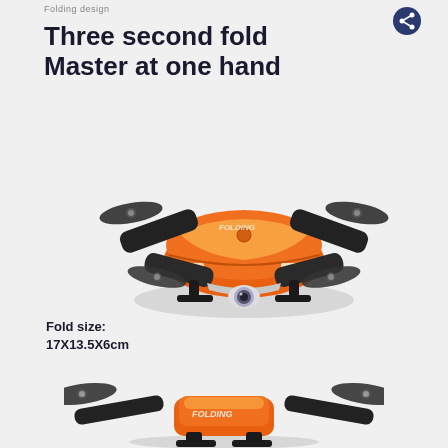Folding design
Three second fold
Master at one hand
[Figure (photo): Orange and black folding drone with propellers folded, camera visible at front, top-down angled view]
Fold size:
17X13.5X6cm
[Figure (photo): Orange and black folding drone with propellers extended, front view showing unfolded state]